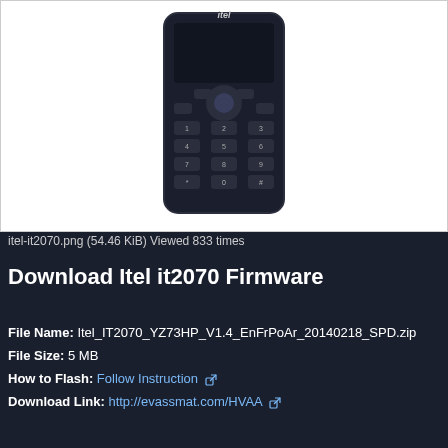[Figure (photo): Photo of an Itel IT2070 feature phone (dark/navy blue bar phone with numeric keypad), shown from the front against a white background.]
itel-it2070.png (54.46 KiB) Viewed 833 times
Download Itel it2070 Firmware
File Name: Itel_IT2070_YZ73HP_V1.4_EnFrPoAr_20140218_SPD.zip
File Size: 5 MB
How to Flash: Follow Instruction
Download Link: http://evassmat.com/HVAA